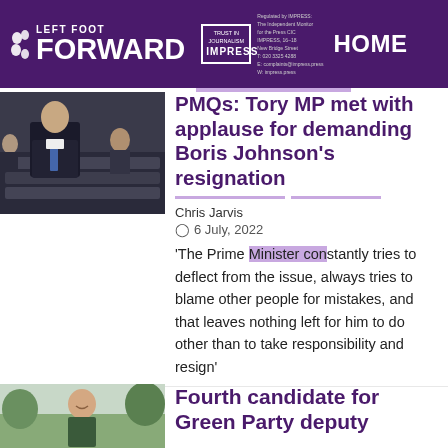LEFT FOOT FORWARD | TRUST IN JOURNALISM IMPRESS | HOME
[Figure (photo): Thumbnail photo of parliament/Boris Johnson at PMQs]
PMQs: Tory MP met with applause for demanding Boris Johnson's resignation
Chris Jarvis
6 July, 2022
'The Prime Minister constantly tries to deflect from the issue, always tries to blame other people for mistakes, and that leaves nothing left for him to do other than to take responsibility and resign'
[Figure (photo): Thumbnail photo of person outdoors for Green Party deputy article]
Fourth candidate for Green Party deputy